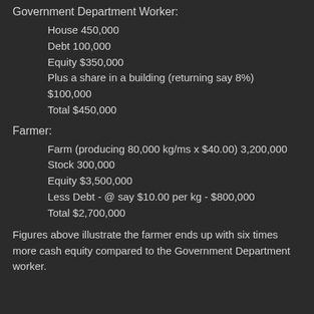Government Department Worker:
House 450,000
Debt 100,000
Equity $350,000
Plus a share in a building (returning say 8%)
$100,000
Total $450,000
Farmer:
Farm (producing 80,000 kg/ms x $40.00) 3,200,000
Stock 300,000
Equity $3,500,000
Less Debt - @ say $10.00 per kg - $800,000
Total $2,700,000
Figures above illustrate the farmer ends up with six times more cash equity compared to the Government Department worker.